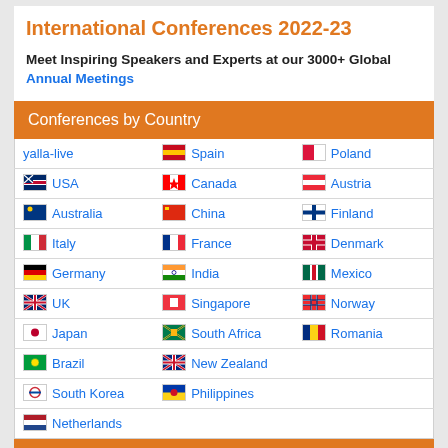International Conferences 2022-23
Meet Inspiring Speakers and Experts at our 3000+ Global Annual Meetings
Conferences by Country
| Col1 | Col2 | Col3 |
| --- | --- | --- |
| yalla-live | Spain | Poland |
| USA | Canada | Austria |
| Australia | China | Finland |
| Italy | France | Denmark |
| Germany | India | Mexico |
| UK | Singapore | Norway |
| Japan | South Africa | Romania |
| Brazil | New Zealand |  |
| South Korea | Philippines |  |
| Netherlands |  |  |
Medical & Clinical Conferences